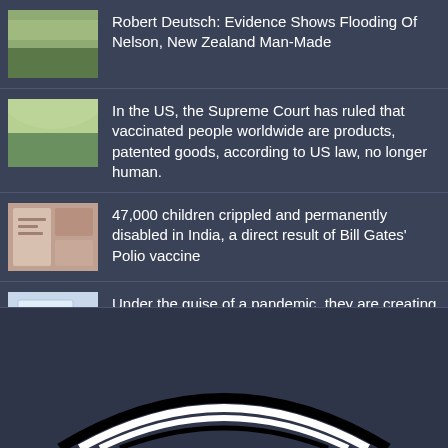Robert Deutsch: Evidence Shows Flooding Of Nelson, New Zealand Man-Made
In the US, the Supreme Court has ruled that vaccinated people worldwide are products, patented goods, according to US law, no longer human.
47,000 children crippled and permanently disabled in India, a direct result of Bill Gates' Polio vaccine
Under the guise of a pandemic, they are creating a prison state ... the Rockefeller Foundation's DOCUMENTED plan for martial law... OPERATION LOCKSTEP (updated)
[Figure (illustration): Partial logo or graphic at the bottom — arc/swoosh shapes in black and white on dark background]